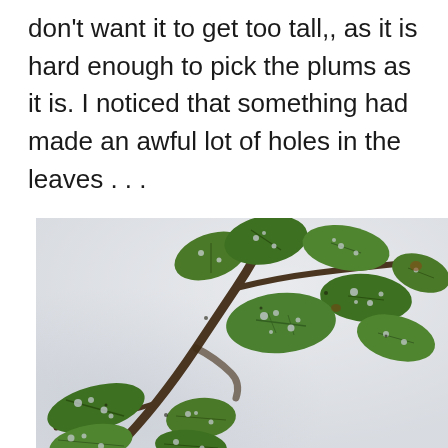don't want it to get too tall,, as it is hard enough to pick the plums as it is. I noticed that something had made an awful lot of holes in the leaves . . .
[Figure (photo): A branch of a plum tree with green leaves that have numerous holes eaten through them, photographed against a light grey-white background.]